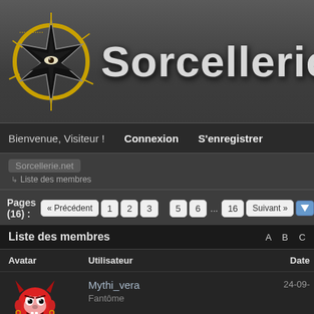[Figure (logo): Sorcellerie.net website logo with black star and gold ring emblem, and site title text]
Bienvenue, Visiteur !  Connexion  S'enregistrer
Sorcellerie.net  ↳  Liste des membres
Pages (16) : « Précédent  1  2  3    5  6  ...  16  Suivant »
| Liste des membres | A B C | Avatar | Utilisateur | Date |
| --- | --- | --- | --- | --- |
| [avatar] | Mythi_vera
Fantôme | 24-09- |